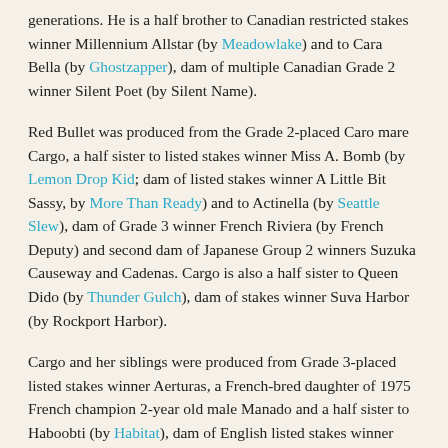generations. He is a half brother to Canadian restricted stakes winner Millennium Allstar (by Meadowlake) and to Cara Bella (by Ghostzapper), dam of multiple Canadian Grade 2 winner Silent Poet (by Silent Name).
Red Bullet was produced from the Grade 2-placed Caro mare Cargo, a half sister to listed stakes winner Miss A. Bomb (by Lemon Drop Kid; dam of listed stakes winner A Little Bit Sassy, by More Than Ready) and to Actinella (by Seattle Slew), dam of Grade 3 winner French Riviera (by French Deputy) and second dam of Japanese Group 2 winners Suzuka Causeway and Cadenas. Cargo is also a half sister to Queen Dido (by Thunder Gulch), dam of stakes winner Suva Harbor (by Rockport Harbor).
Cargo and her siblings were produced from Grade 3-placed listed stakes winner Aerturas, a French-bred daughter of 1975 French champion 2-year old male Manado and a half sister to Haboobti (by Habitat), dam of English listed stakes winner Boojum (by Mujtahid) and second dam of Irish